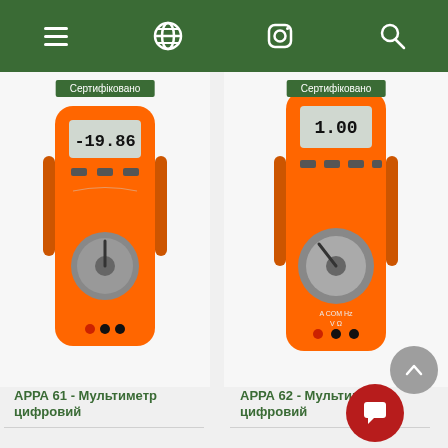[Figure (screenshot): Green navigation bar with hamburger menu, globe icon, Instagram icon, and search icon on white icons]
[Figure (photo): Orange digital multimeter APPA 61 with display showing -19.86, with 'Сертифіковано' badge]
АРРА 61 - Мультиметр цифровий
[Figure (photo): Orange digital multimeter APPA 62 with display showing 1.00, with 'Сертифіковано' badge]
АРРА 62 - Мультиметр цифровий